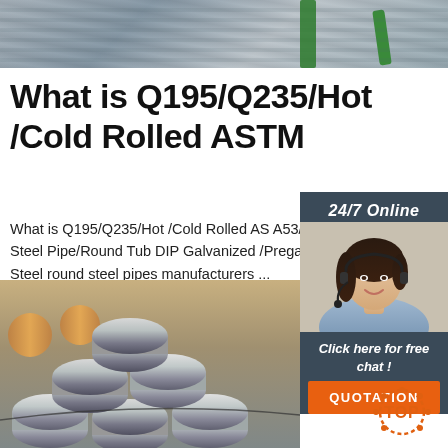[Figure (photo): Close-up of stacked steel sheets/coils with a green strap, metallic gray texture]
What is Q195/Q235/Hot /Cold Rolled ASTM
What is Q195/Q235/Hot /Cold Rolled AS A53/A500/Carbon Steel Pipe/Round Tub DIP Galvanized /Pregalvanized/Gi Steel round steel pipes manufacturers ...
[Figure (photo): Customer service representative with headset, 24/7 Online sidebar with chat and quotation button]
[Figure (photo): Stacked round steel pipes/tubes in a warehouse setting with TOP logo overlay]